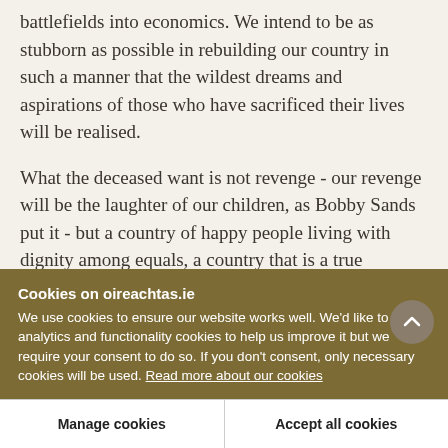battlefields into economics. We intend to be as stubborn as possible in rebuilding our country in such a manner that the wildest dreams and aspirations of those who have sacrificed their lives will be realised.
What the deceased want is not revenge - our revenge will be the laughter of our children, as Bobby Sands put it - but a country of happy people living with dignity among equals, a country that is a true member of the European family, a country that is an
Cookies on oireachtas.ie
We use cookies to ensure our website works well. We'd like to use analytics and functionality cookies to help us improve it but we require your consent to do so. If you don't consent, only necessary cookies will be used. Read more about our cookies
Manage cookies
Accept all cookies